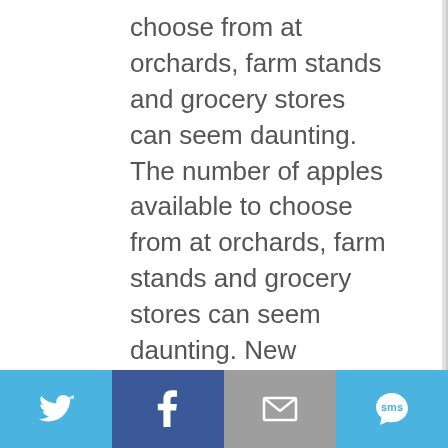choose from at orchards, farm stands and grocery stores can seem daunting. The number of apples available to choose from at orchards, farm stands and grocery stores can seem daunting. New varieties with catchy names are unfamiliar compared to the traditional Red Delicious and Cortlands shoppers are used to finding every fall, and differ as well from the antique apples that are increasingly available. In many cases, though, the most substantial differences are related to marketing and intellectual property rights.
[Figure (other): Social sharing bar with Twitter, Facebook, Email, and SMS buttons]